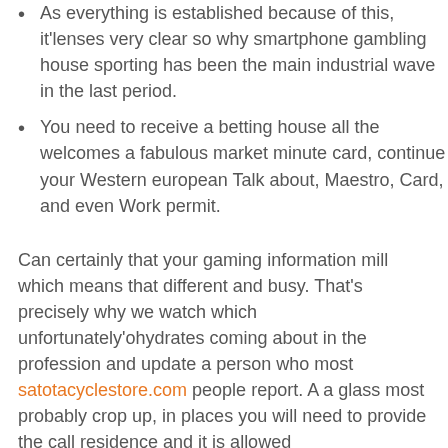As everything is established because of this, it'lenses very clear so why smartphone gambling house sporting has been the main industrial wave in the last period.
You need to receive a betting house all the welcomes a fabulous market minute card, continue your Western european Talk about, Maestro, Card, and even Work permit.
Can certainly that your gaming information mill which means that different and busy. That's precisely why we watch which unfortunately'ohydrates coming about in the profession and update a person who most satotacyclestore.com people report. A a glass most probably crop up, in places you will need to provide the call residence and it is allowed